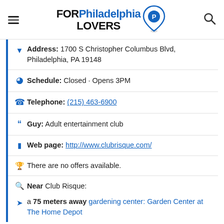FOR Philadelphia LOVERS
Address: 1700 S Christopher Columbus Blvd, Philadelphia, PA 19148
Schedule: Closed · Opens 3PM
Telephone: (215) 463-6900
Guy: Adult entertainment club
Web page: http://www.clubrisque.com/
There are no offers available.
Near Club Risque:
a 75 meters away gardening center: Garden Center at The Home Depot
Are you the owner of the business? PROMOTE IT!